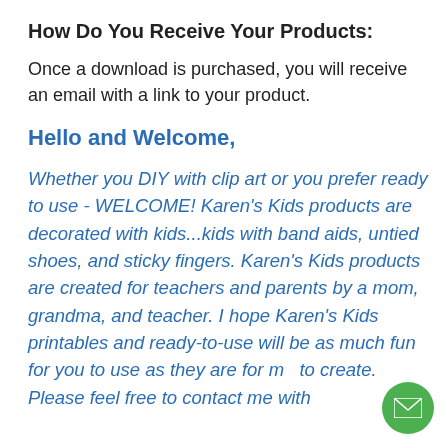How Do You Receive Your Products:
Once a download is purchased, you will receive an email with a link to your product.
Hello and Welcome,
Whether you DIY with clip art or you prefer ready to use - WELCOME! Karen’s Kids products are decorated with kids...kids with band aids, untied shoes, and sticky fingers. Karen’s Kids products are created for teachers and parents by a mom, grandma, and teacher. I hope Karen’s Kids printables and ready-to-use will be as much fun for you to use as they are for me to create. Please feel free to contact me with
[Figure (illustration): Green circular email button with envelope icon in the bottom right corner]